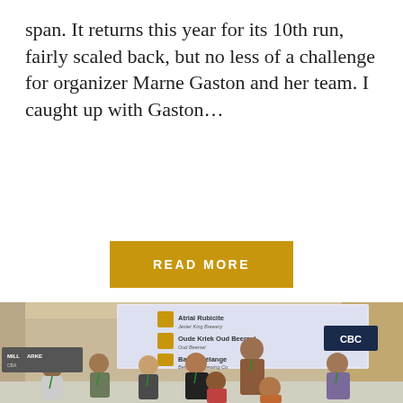span. It returns this year for its 10th run, fairly scaled back, but no less of a challenge for organizer Marne Gaston and her team. I caught up with Gaston…
READ MORE
[Figure (photo): Group photo of approximately eight people posing together in a convention center hall. A large projector screen behind them displays beer names including 'Atrial Rubicite', 'Oude Kriek Oud Beersel', and 'Bailey Mélange'. A CBC sign is visible in the background. People are wearing green lanyards/badges.]